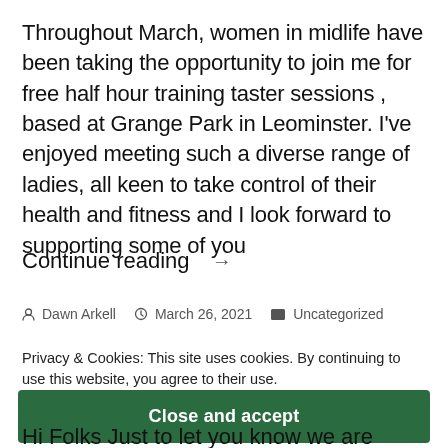Throughout March, women in midlife have been taking the opportunity to join me for free half hour training taster sessions , based at Grange Park in Leominster. I’ve enjoyed meeting such a diverse range of ladies, all keen to take control of their health and fitness and I look forward to supporting some of you
Continue reading →
• Dawn Arkell  ⏰ March 26, 2021  📁 Uncategorized
Privacy & Cookies: This site uses cookies. By continuing to use this website, you agree to their use.
To find out more, including how to control cookies, see here:
Cookie Policy
Close and accept
Hi Folks Just to let you know we are training outdoors